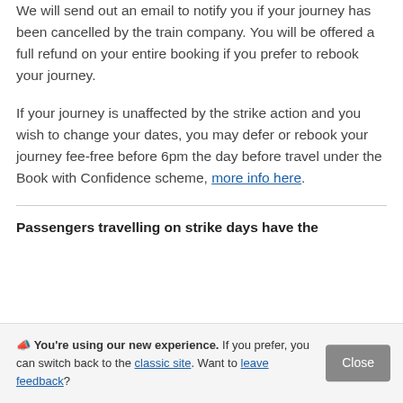We will send out an email to notify you if your journey has been cancelled by the train company. You will be offered a full refund on your entire booking if you prefer to rebook your journey.
If your journey is unaffected by the strike action and you wish to change your dates, you may defer or rebook your journey fee-free before 6pm the day before travel under the Book with Confidence scheme, more info here.
Passengers travelling on strike days have the
🎉 You're using our new experience. If you prefer, you can switch back to the classic site. Want to leave feedback?